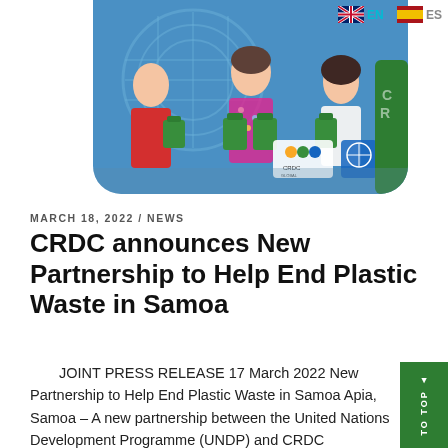[Figure (photo): Three people standing together holding green bags in front of a UN logo backdrop, with CRDC Global and UNDP logos visible. Photo has rounded bottom corners.]
EN  ES
MARCH 18, 2022 / NEWS
CRDC announces New Partnership to Help End Plastic Waste in Samoa
JOINT PRESS RELEASE 17 March 2022 New Partnership to Help End Plastic Waste in Samoa Apia, Samoa – A new partnership between the United Nations Development Programme (UNDP) and CRDC